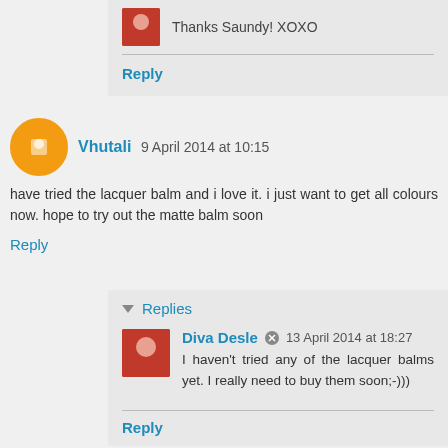Thanks Saundy! XOXO
Reply
Vhutali  9 April 2014 at 10:15
have tried the lacquer balm and i love it. i just want to get all colours now. hope to try out the matte balm soon
Reply
Replies
Diva Desle  13 April 2014 at 18:27
I haven't tried any of the lacquer balms yet. I really need to buy them soon;-)))
Reply